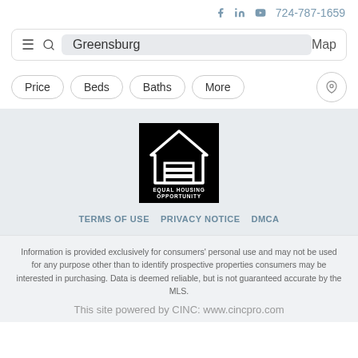f  in  ▶  724-787-1659
Greensburg  Map
Price  Beds  Baths  More
[Figure (logo): Equal Housing Opportunity logo — white house icon with equal sign on black background]
TERMS OF USE  PRIVACY NOTICE  DMCA
Information is provided exclusively for consumers' personal use and may not be used for any purpose other than to identify prospective properties consumers may be interested in purchasing. Data is deemed reliable, but is not guaranteed accurate by the MLS.
This site powered by CINC: www.cincpro.com